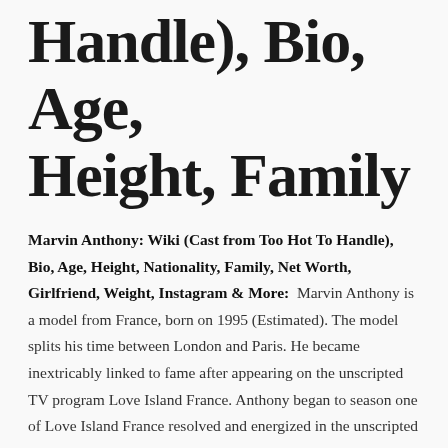Handle), Bio, Age, Height, Family
Marvin Anthony: Wiki (Cast from Too Hot To Handle), Bio, Age, Height, Nationality, Family, Net Worth, Girlfriend, Weight, Instagram & More:  Marvin Anthony is a model from France, born on 1995 (Estimated). The model splits his time between London and Paris. He became inextricably linked to fame after appearing on the unscripted TV program Love Island France. Anthony began to season one of Love Island France resolved and energized in the unscripted TV drama. In the show, he was continuously surrounded by